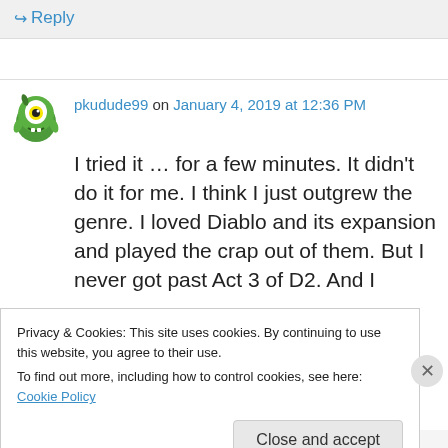↳ Reply
pkudude99 on January 4, 2019 at 12:36 PM
I tried it … for a few minutes. It didn't do it for me. I think I just outgrew the genre. I loved Diablo and its expansion and played the crap out of them. But I never got past Act 3 of D2. And I
Privacy & Cookies: This site uses cookies. By continuing to use this website, you agree to their use.
To find out more, including how to control cookies, see here: Cookie Policy
Close and accept